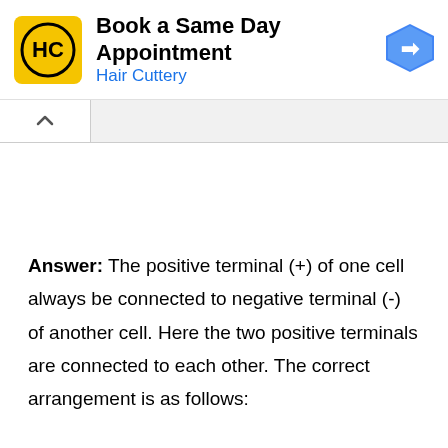[Figure (screenshot): Hair Cuttery advertisement banner: yellow logo with HC initials, text 'Book a Same Day Appointment' and 'Hair Cuttery' in blue, blue navigation arrow icon on right]
Answer: The positive terminal (+) of one cell always be connected to negative terminal (-) of another cell. Here the two positive terminals are connected to each other. The correct arrangement is as follows: